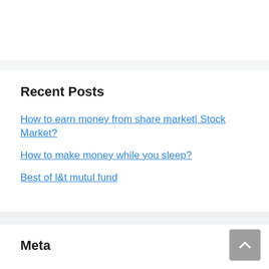Recent Posts
How to earn money from share market| Stock Market?
How to make money while you sleep?
Best of l&t mutul fund
Meta